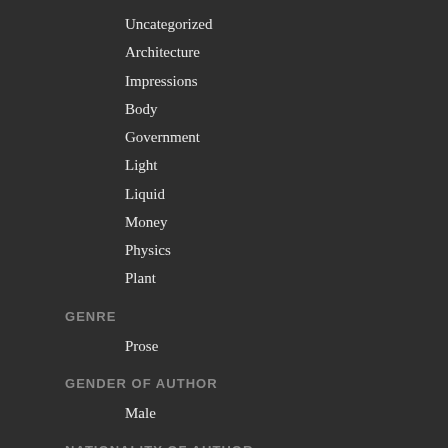Uncategorized
Architecture
Impressions
Body
Government
Light
Liquid
Money
Physics
Plant
GENRE
Prose
GENDER OF AUTHOR
Male
NATIONALITY OF AUTHOR
English